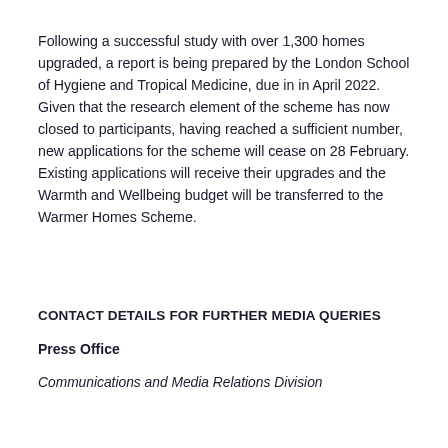Following a successful study with over 1,300 homes upgraded, a report is being prepared by the London School of Hygiene and Tropical Medicine, due in in April 2022. Given that the research element of the scheme has now closed to participants, having reached a sufficient number, new applications for the scheme will cease on 28 February. Existing applications will receive their upgrades and the Warmth and Wellbeing budget will be transferred to the Warmer Homes Scheme.
CONTACT DETAILS FOR FURTHER MEDIA QUERIES
Press Office
Communications and Media Relations Division